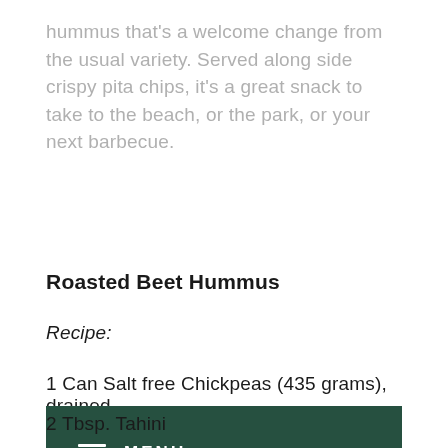hummus that's a welcome change from the usual variety. Served along side crispy pita chips, it's a great snack to take to the beach, or the park, or your next barbecue.
Roasted Beet Hummus
Recipe:
1 Can Salt free Chickpeas (435 grams), drained
[Figure (other): Dark green navigation menu bar with hamburger icon and MENU text in white]
2 Tbsp. Tahini